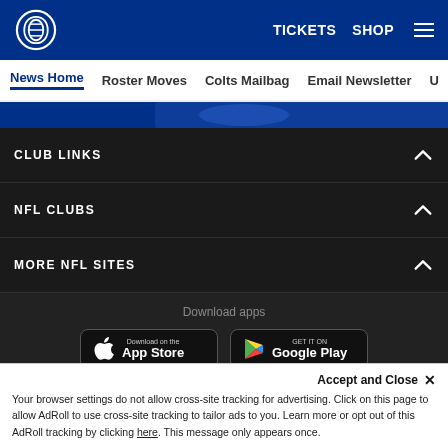Indianapolis Colts - TICKETS SHOP
News Home | Roster Moves | Colts Mailbag | Email Newsletter | U
[Figure (screenshot): Blue banner strip with Colts logo partial]
CLUB LINKS
NFL CLUBS
MORE NFL SITES
Download apps
[Figure (screenshot): App Store download button]
[Figure (screenshot): Google Play download button]
[Figure (illustration): Blue section at bottom with partial Colts figure icon]
Accept and Close ×
Your browser settings do not allow cross-site tracking for advertising. Click on this page to allow AdRoll to use cross-site tracking to tailor ads to you. Learn more or opt out of this AdRoll tracking by clicking here. This message only appears once.